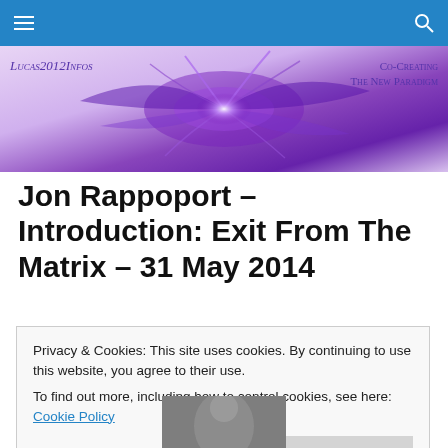Navigation bar with hamburger menu and search icon
[Figure (illustration): Lucas2012Infos website banner with purple abstract fractal art design and tagline 'Co-Creating The New Paradigm']
Jon Rappoport – Introduction: Exit From The Matrix – 31 May 2014
Privacy & Cookies: This site uses cookies. By continuing to use this website, you agree to their use.
To find out more, including how to control cookies, see here: Cookie Policy
Close and accept
[Figure (photo): Partial black and white portrait photo at bottom of page]